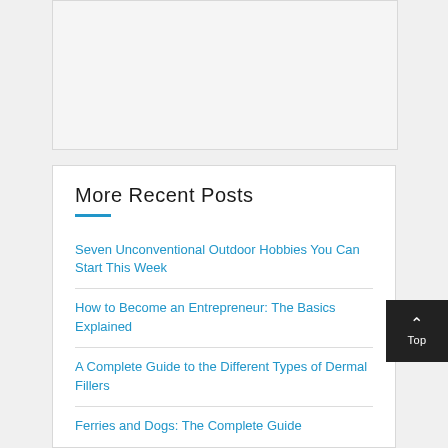[Figure (other): Gray placeholder/advertisement box at top of page]
More Recent Posts
Seven Unconventional Outdoor Hobbies You Can Start This Week
How to Become an Entrepreneur: The Basics Explained
A Complete Guide to the Different Types of Dermal Fillers
Ferries and Dogs: The Complete Guide
John Deere 4045 Remanufactured